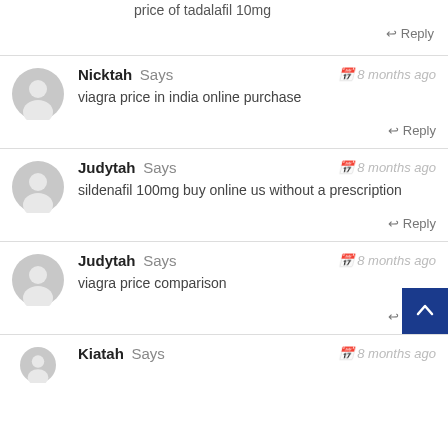price of tadalafil 10mg
↩ Reply
Nicktah Says — 8 months ago
viagra price in india online purchase
↩ Reply
Judytah Says — 8 months ago
sildenafil 100mg buy online us without a prescription
↩ Reply
Judytah Says — 8 months ago
viagra price comparison
↩ Reply
Kiatah Says — 8 months ago